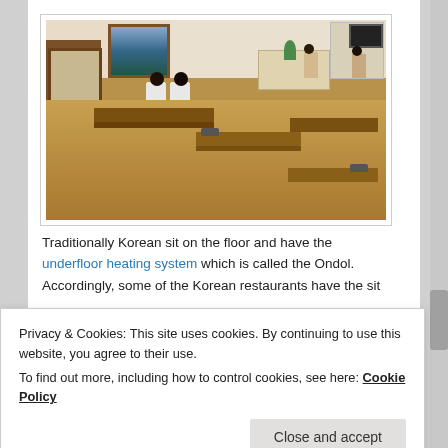[Figure (photo): Interior of a Korean restaurant showing low wooden tables and benches on a wooden floor, two people sitting on the floor at a table, with wood paneling, a mountain painting on the wall, and a counter area in the background.]
Traditionally Korean sit on the floor and have the underfloor heating system  which is called the Ondol. Accordingly, some of the Korean restaurants have the sit
Privacy & Cookies: This site uses cookies. By continuing to use this website, you agree to their use.
To find out more, including how to control cookies, see here: Cookie Policy